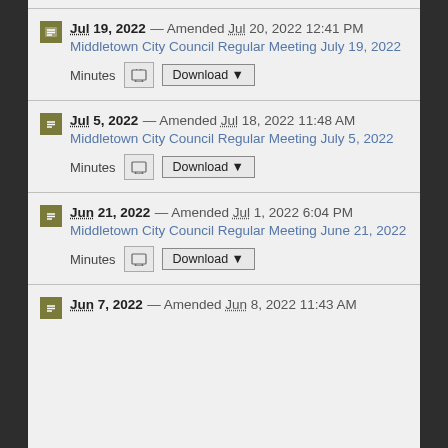Jul 19, 2022 — Amended Jul 20, 2022 12:41 PM
Middletown City Council Regular Meeting July 19, 2022
Minutes | Download
Jul 5, 2022 — Amended Jul 18, 2022 11:48 AM
Middletown City Council Regular Meeting July 5, 2022
Minutes | Download
Jun 21, 2022 — Amended Jul 1, 2022 6:04 PM
Middletown City Council Regular Meeting June 21, 2022
Minutes | Download
Jun 7, 2022 — Amended Jun 8, 2022 11:43 AM
Middletown City Council Regular Meeting...